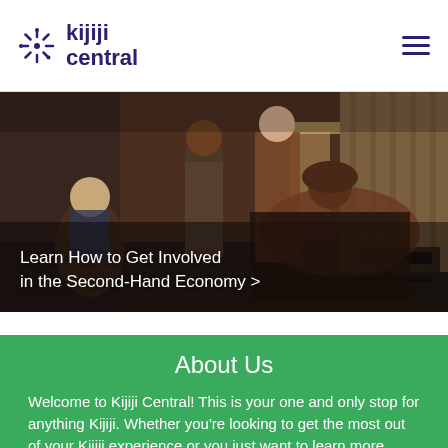kijiji central
[Figure (photo): Indoor scene with multiple people in a living room. A man seated in a leather recliner, a woman standing in a brown dress, a man standing in a checked shirt, and a woman seated on the left. Warm lighting, vintage decor.]
Learn How to Get Involved in the Second-Hand Economy >
About Us
Welcome to Kijiji Central! This is your one and only stop for anything Kijiji. Whether you're looking to get the most out of your Kijiji experience or you just want to learn more about our users and our impact on the community, look no further. Tutorials, blog articles,